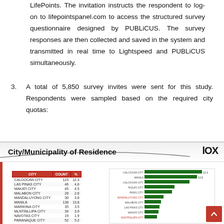LifePoints. The invitation instructs the respondent to log-on to lifepointspanel.com to access the structured survey questionnaire designed by PUBLiCUS. The survey responses are then collected and saved in the system and transmitted in real time to Lightspeed and PUBLiCUS simultaneously.
3. A total of 5,850 survey invites were sent for this study. Respondents were sampled based on the required city quotas:
[Figure (bar-chart): City/Municipality of Residence]
| CITY | COUNT | % |
| --- | --- | --- |
| CALOOCAN CITY | 123 | 12.3 |
| LAS PINAS CITY | 46 | 4.6 |
| MAKATI CITY | 45 | 4.5 |
| MALABON CITY | 28 | 2.8 |
| MANDALUYONG CITY | 30 | 3.0 |
| MANILA | 138 | 13.8 |
| MARIKINA CITY | 35 | 3.5 |
| MLNTINLLIPA CITY | 39 | 3.9 |
| NAVOTAS CITY | 19 | 1.9 |
| PARANAQUE CITY | 52 | 5.2 |